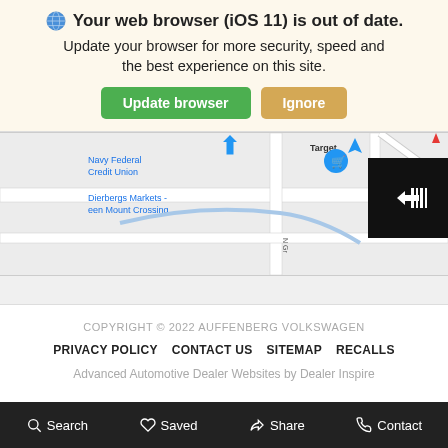[Figure (screenshot): Browser update notification banner with globe icon, bold title 'Your web browser (iOS 11) is out of date.', subtitle text, and two buttons: 'Update browser' (green) and 'Ignore' (tan/gold)]
[Figure (map): Google Maps screenshot showing Navy Federal Credit Union, Target, Dierbergs Markets - een Mount Crossing, Three Springs Park, Cross St road, and N Gr street. Blue location pin visible. Dark overlay button with barcode/scan icon on right side.]
COPYRIGHT © 2022 AUFFENBERG VOLKSWAGEN
PRIVACY POLICY   CONTACT US   SITEMAP   RECALLS
Advanced Automotive Dealer Websites by Dealer Inspire
Search   Saved   Share   Contact